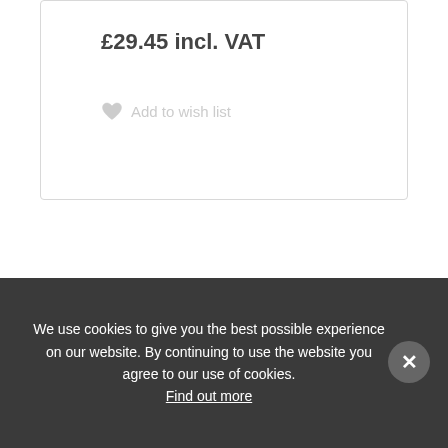£29.45 incl. VAT
Add to wish list
We use cookies to give you the best possible experience on our website. By continuing to use the website you agree to our use of cookies. Find out more